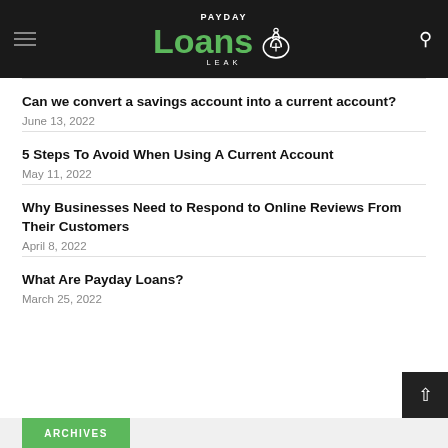Payday Loans Leak
Can we convert a savings account into a current account?
June 13, 2022
5 Steps To Avoid When Using A Current Account
May 11, 2022
Why Businesses Need to Respond to Online Reviews From Their Customers
April 8, 2022
What Are Payday Loans?
March 25, 2022
ARCHIVES